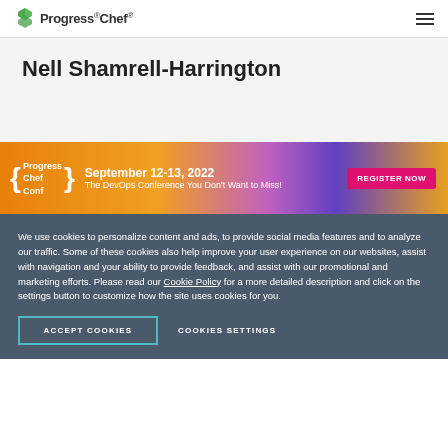Progress Chef
Nell Shamrell-Harrington
[Figure (infographic): Chef Conf banner: September 12-13, 2022. The DevOps Conference You Don't Want to Miss! Register Now button.]
We use cookies to personalize content and ads, to provide social media features and to analyze our traffic. Some of these cookies also help improve your user experience on our websites, assist with navigation and your ability to provide feedback, and assist with our promotional and marketing efforts. Please read our Cookie Policy for a more detailed description and click on the settings button to customize how the site uses cookies for you.
ACCEPT COOKIES
COOKIES SETTINGS